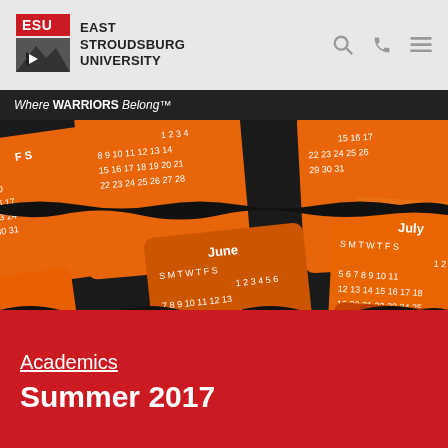ESU East Stroudsburg University
Where WARRIORS Belong™
[Figure (photo): Decorative image of multiple calendar months (May, June, July, August, October, November, December) in orange and brown, shown at an angle as overlapping calendar pages on a dark background.]
Academics
Summer 2017